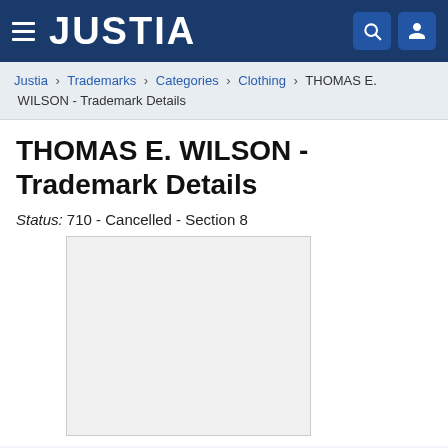JUSTIA
Justia › Trademarks › Categories › Clothing › THOMAS E. WILSON - Trademark Details
THOMAS E. WILSON - Trademark Details
Status: 710 - Cancelled - Section 8
[Figure (other): Trademark image placeholder (light gray rectangle)]
Serial Number
74676649